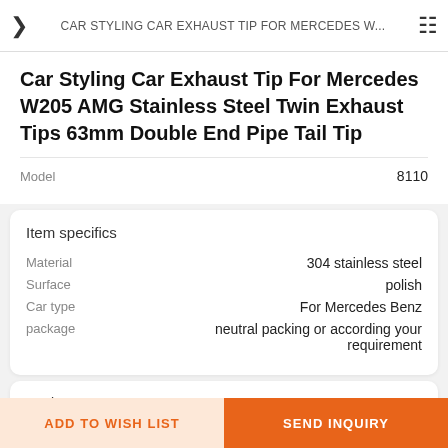CAR STYLING CAR EXHAUST TIP FOR MERCEDES W...
Car Styling Car Exhaust Tip For Mercedes W205 AMG Stainless Steel Twin Exhaust Tips 63mm Double End Pipe Tail Tip
Model  8110
Item specifics
|  |  |
| --- | --- |
| Material | 304 stainless steel |
| Surface | polish |
| Car type | For Mercedes Benz |
| package | neutral packing or according your requirement |
Review  MORE
ADD TO WISH LIST  SEND INQUIRY